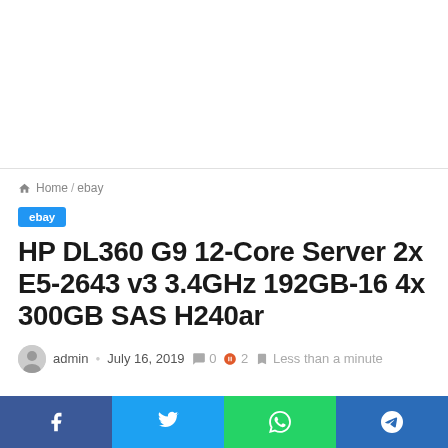🏠 Home / ebay
ebay
HP DL360 G9 12-Core Server 2x E5-2643 v3 3.4GHz 192GB-16 4x 300GB SAS H240ar
admin · July 16, 2019 · 0 · 2 · Less than a minute
f  t  WhatsApp  Telegram